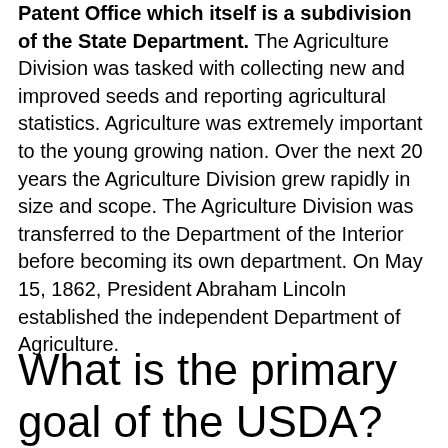Patent Office which itself is a subdivision of the State Department. The Agriculture Division was tasked with collecting new and improved seeds and reporting agricultural statistics. Agriculture was extremely important to the young growing nation. Over the next 20 years the Agriculture Division grew rapidly in size and scope. The Agriculture Division was transferred to the Department of the Interior before becoming its own department. On May 15, 1862, President Abraham Lincoln established the independent Department of Agriculture.
What is the primary goal of the USDA?